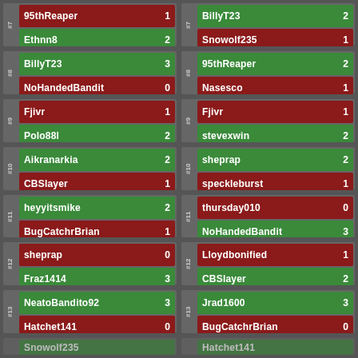| Match | Player | Score |
| --- | --- | --- |
| #7 | 95thReaper | 1 |
| #7 | Ethnn8 | 2 |
| #8 | BillyT23 | 3 |
| #8 | NoHandedBandit | 0 |
| #9 | Fjivr | 1 |
| #9 | Polo88l | 2 |
| #10 | Aikranarkia | 2 |
| #10 | CBSlayer | 1 |
| #11 | heyyitsmike | 2 |
| #11 | BugCatchrBrian | 1 |
| #12 | sheprap | 0 |
| #12 | Fraz1414 | 3 |
| #13 | NeatoBandito92 | 3 |
| #13 | Hatchet141 | 0 |
| #7 | BillyT23 | 2 |
| #7 | Snowolf235 | 1 |
| #8 | 95thReaper | 2 |
| #8 | Nasesco | 1 |
| #9 | Fjivr | 1 |
| #9 | stevexwin | 2 |
| #10 | sheprap | 2 |
| #10 | speckleburst | 1 |
| #11 | thursday010 | 0 |
| #11 | NoHandedBandit | 3 |
| #12 | Lloydbonified | 1 |
| #12 | CBSlayer | 2 |
| #13 | Jrad1600 | 3 |
| #13 | BugCatchrBrian | 0 |